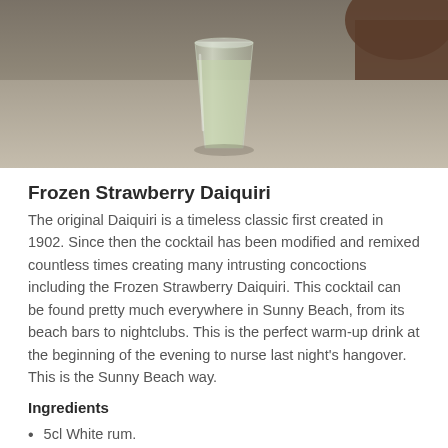[Figure (photo): A photograph of a glass containing a light green cocktail, placed on a stone/concrete surface with a warm brownish background. Another dark vessel is partially visible in the upper right corner.]
Frozen Strawberry Daiquiri
The original Daiquiri is a timeless classic first created in 1902. Since then the cocktail has been modified and remixed countless times creating many intrusting concoctions including the Frozen Strawberry Daiquiri. This cocktail can be found pretty much everywhere in Sunny Beach, from its beach bars to nightclubs. This is the perfect warm-up drink at the beginning of the evening to nurse last night's hangover. This is the Sunny Beach way.
Ingredients
5cl White rum.